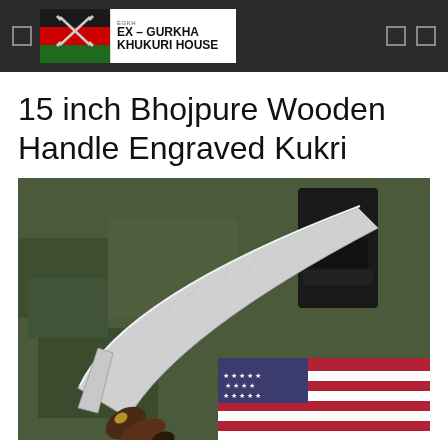Ex-Gurkha Khukuri House
15 inch Bhojpure Wooden Handle Engraved Kukri
[Figure (photo): A large kukri (Nepalese knife) with an engraved blade, dark wooden handle with brass bolster, resting on an olive military jacket and an American flag background, with a black leather sheath visible.]